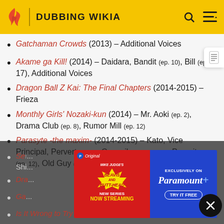DUBBING WIKIA
Gatchaman Crowds (2013) – Additional Voices
Akame ga Kill! (2014) – Daidara, Bandit (ep. 10), Bill (ep. 17), Additional Voices
Dragon Ball Z Kai: The Final Chapters (2014-2015) – Frieza
Monthly Girls' Nozaki-kun (2014) – Mr. Aoki (ep. 2), Drama Club (ep. 8), Rumor Mill (ep. 12)
Parasyte -the maxim- (2014-2015) – Kato, Vice Principal, Pervert (ep. 3), Councilman (ep. 10), Parasite (ep. 12), Old Guy (ep. 15)
Se... ...keda Shi...
Dra... ...ion Dub)
Ga... ...Voices
Is It Wrong to Try to Pick Up Girls in a Dungeon? (2014...
[Figure (screenshot): Paramount+ advertisement banner featuring Beavis and Butt-Head new series, with red left panel and blue right panel showing 'Exclusively on Paramount+' and 'Try It Free']